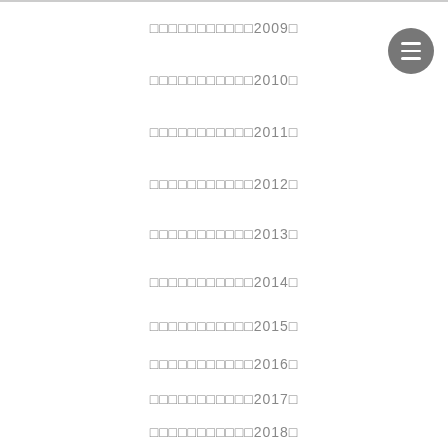□□□□□□□□□□□2009□
□□□□□□□□□□□2010□
□□□□□□□□□□□2011□
□□□□□□□□□□□2012□
□□□□□□□□□□□2013□
□□□□□□□□□□□2014□
□□□□□□□□□□□2015□
□□□□□□□□□□□2016□
□□□□□□□□□□□2017□
□□□□□□□□□□□2018□